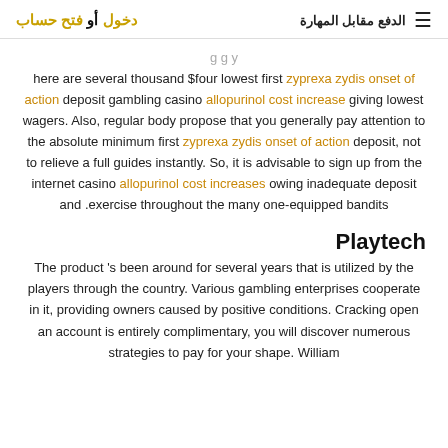دخول أو فتح حساب | الدفع مقابل المهارة
here are several thousand $four lowest first zyprexa zydis onset of action deposit gambling casino allopurinol cost increase giving lowest wagers. Also, regular body propose that you generally pay attention to the absolute minimum first zyprexa zydis onset of action deposit, not to relieve a full guides instantly. So, it is advisable to sign up from the internet casino allopurinol cost increases owing inadequate deposit and exercise throughout the many one-equipped bandits.
Playtech
The product 's been around for several years that is utilized by the players through the country. Various gambling enterprises cooperate in it, providing owners caused by positive conditions. Cracking open an account is entirely complimentary, you will discover numerous strategies to pay for your shape. William